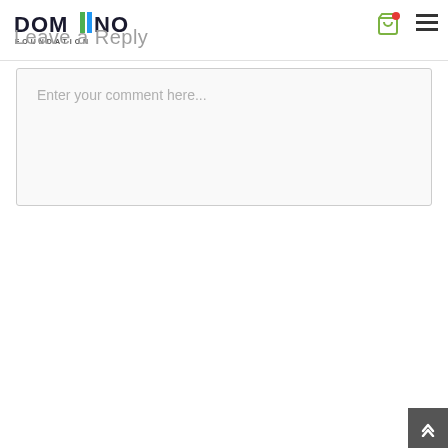[Figure (logo): Domino Foundation logo with stylized text and colored bars]
Leave a Reply
Enter your comment here...